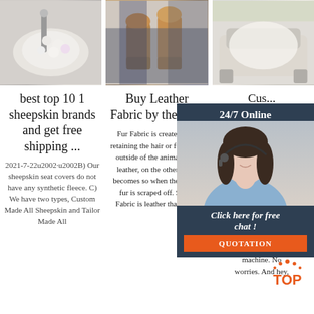[Figure (photo): Three product images in a row: left - white sheepskin/wool material on surface, center - brown UGG-style boots with jeans, right - white sheepskin rug on an armchair]
best top 10 1 sheepskin brands and get free shipping ...
2021-7-22u2002·u2002B) Our sheepskin seat covers do not have any synthetic fleece. C) We have two types, Custom Made All Sheepskin and Tailor Made All
Buy Leather Fabric by the Yard
Fur Fabric is created after retaining the hair or fur on the outside of the animal hide; leather, on the other hand, becomes so when the hair or fur is scraped off. Suede Fabric is leather that either
Cus... Il...
With a cove have to that. focus o best Simply over your pillows, and you're all set. If you spill, just throw them in the washing machine. No worries. And hey,
[Figure (infographic): 24/7 Online chat widget with agent photo and QUOTATION button]